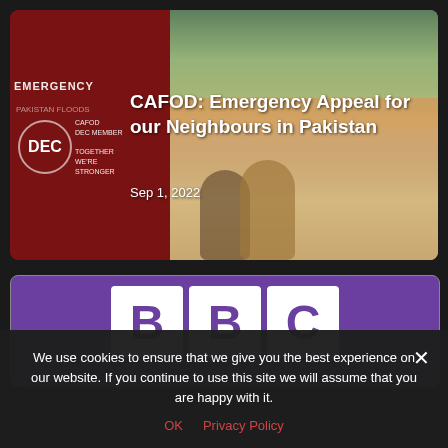[Figure (photo): CAFOD Emergency Appeal for our Neighbours in Pakistan. A card showing a red panel on the left with EMERGENCY text and DEC badge (CAFOD DEC MEMBER TOGETHER WE'RE STRONGER), and a photo on the right of two children sitting on sandy ground near water with green vegetation in the background.]
CAFOD: Emergency Appeal for our Neighbours in Pakistan
Sep 1, 2022
[Figure (logo): BBC logo on purple background, showing three white squares each containing a letter: B B C]
We use cookies to ensure that we give you the best experience on our website. If you continue to use this site we will assume that you are happy with it.
OK   Privacy Policy